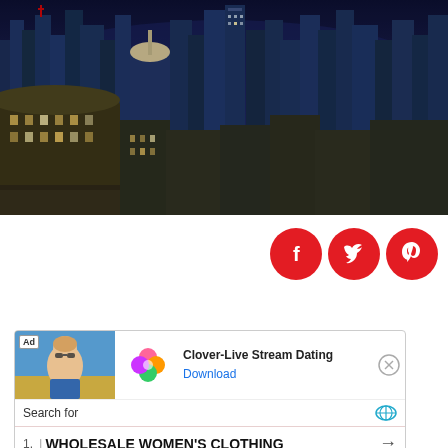[Figure (photo): Aerial nighttime cityscape photo showing a dense urban skyline with illuminated skyscrapers and buildings]
[Figure (infographic): Three red circular social media icons: Facebook (f), Twitter (bird), Pinterest (p)]
[Figure (infographic): Advertisement block: Clover-Live Stream Dating app ad with Download button, search bar, WHOLESALE WOMEN'S CLOTHING result, Yahoo! Search Sponsored label]